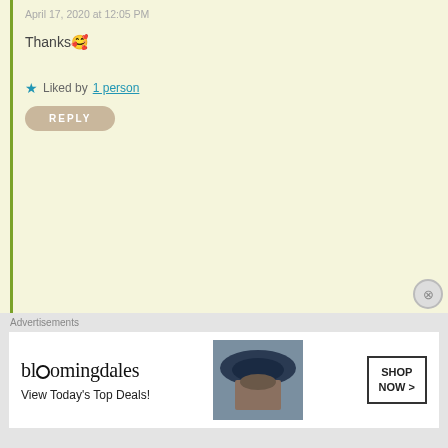April 17, 2020 at 12:05 PM
Thanks 🥰
★ Liked by 1 person
REPLY
The Eclectic Contrarian
April 18, 2020 at 12:08 AM
Yum!!!!
★ Liked by 1 person
REPLY
indianeskitchen
April 18, 2020 at 12:10 AM
Advertisements
[Figure (other): Bloomingdale's advertisement banner: 'bloomingdales View Today's Top Deals!' with woman in hat and SHOP NOW button]